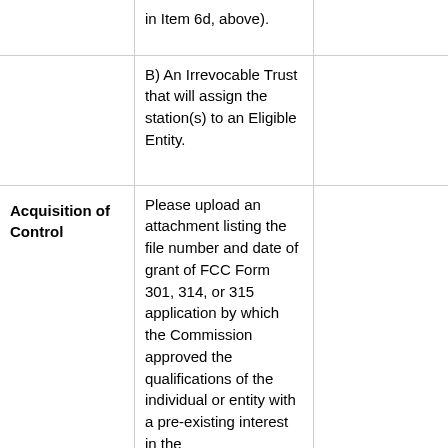|  |  |  |
| --- | --- | --- |
|  | in Item 6d, above). |  |
|  | B) An Irrevocable Trust that will assign the station(s) to an Eligible Entity. |  |
| Acquisition of Control | Please upload an attachment listing the file number and date of grant of FCC Form 301, 314, or 315 application by which the Commission approved the qualifications of the individual or entity with a pre-existing interest in the |  |